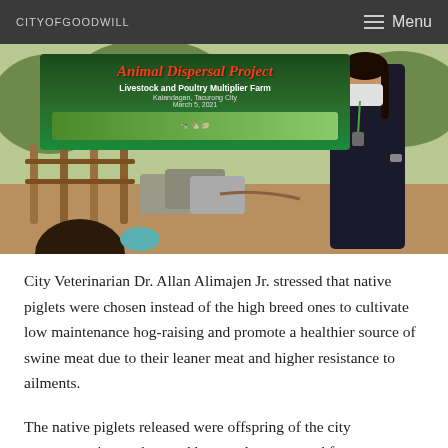CITYOFGOODWILL  Menu
[Figure (photo): Photo of a woman wearing a mask standing in front of a green banner reading 'Animal Dispersal Project – Livestock and Poultry Multiplier Farm, Kalandagan, Tacurong City, March 5, 2021'. An audience member is visible in the foreground.]
City Veterinarian Dr. Allan Alimajen Jr. stressed that native piglets were chosen instead of the high breed ones to cultivate low maintenance hog-raising and promote a healthier source of swine meat due to their leaner meat and higher resistance to ailments.
The native piglets released were offspring of the city government's own hog and boar and were reared for two